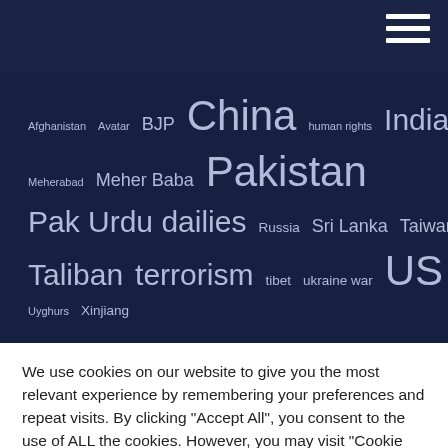[Figure (other): Navigation hamburger menu icon (three horizontal white lines) on dark navy background]
Afghanistan Avatar BJP China human rights India Meherabad Meher Baba Pakistan Pak Urdu dailies Russia Sri Lanka Taiwan Taliban terrorism tibet ukraine war US Uyghurs Xinjiang
We use cookies on our website to give you the most relevant experience by remembering your preferences and repeat visits. By clicking "Accept All", you consent to the use of ALL the cookies. However, you may visit "Cookie Settings" to provide a controlled consent.
Cookie Settings
Accept All